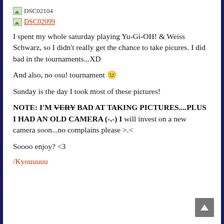[Figure (other): Broken image placeholder labeled DSC02104]
[Figure (other): Broken image placeholder labeled DSC02099 (shown as red link)]
I spent my whole saturday playing Yu-Gi-OH! & Weiss Schwarz, so I didn't really get the chance to take picures. I did bad in the tournaments...XD
And also, no osu! tournament 😐
Sunday is the day I took most of these pictures!
NOTE: I'M VERY BAD AT TAKING PICTURES....PLUS I HAD AN OLD CAMERA (-.-) I will invest on a new camera soon...no complains please >.<
Soooo enjoy? <3
/Kyouuuuu